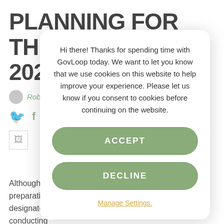PLANNING FOR THE 2020 CENSUS
Robert Campbell · July 1, 2014
[Figure (illustration): Social media sharing icons: Twitter, Facebook, LinkedIn, email, print]
[Figure (photo): Small thumbnail image placeholder]
Photo Credit: U.S. Census Bureau, Public Information Office
Although the 2020 Census is about 6 years away, preparations are well underway. The Census Bureau has designated today as Census Day 2014, as the Bureau is conducting
[Figure (other): Cookie consent popup overlay with Accept and Decline buttons and Manage Settings link. Text: Hi there! Thanks for spending time with GovLoop today. We want to let you know that we use cookies on this website to help improve your experience. Please let us know if you consent to cookies before continuing on the website.]